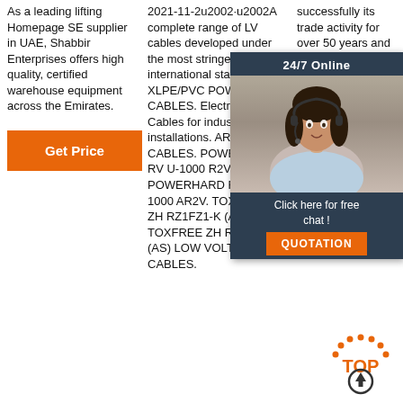As a leading lifting Homepage SE supplier in UAE, Shabbir Enterprises offers high quality, certified warehouse equipment across the Emirates.
Get Price
2021-11-2u2002·u2002A complete range of LV cables developed under the most stringent international standards. XLPE/PVC POWER CABLES. Electric Power Cables for industrial installations. ARMOURED CABLES. POWERHARD RV U-1000 R2V. POWERHARD RV AL U-1000 AR2V. TOXFREE ZH RZ1FZ1-K (AS) TOXFREE ZH RZ1MZ1-K (AS) LOW VOLTAGE CABLES.
successfully its trade activity for over 50 years and today it represents a landmark for Europe. We help... save time... by provi... right pro... their fac... running...
[Figure (other): 24/7 Online chat popup overlay with customer service representative photo, 'Click here for free chat!' text, and orange QUOTATION button]
Get P...
[Figure (other): TOP arrow icon in orange dotted circle with upward arrow]